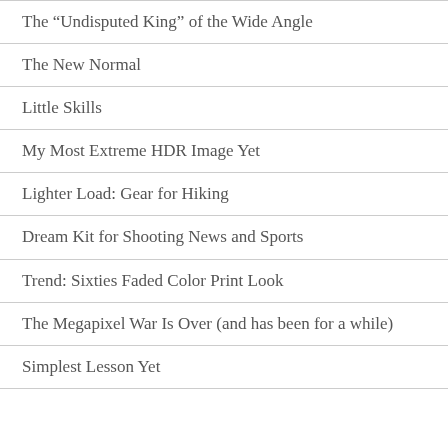The “Undisputed King” of the Wide Angle
The New Normal
Little Skills
My Most Extreme HDR Image Yet
Lighter Load: Gear for Hiking
Dream Kit for Shooting News and Sports
Trend: Sixties Faded Color Print Look
The Megapixel War Is Over (and has been for a while)
Simplest Lesson Yet